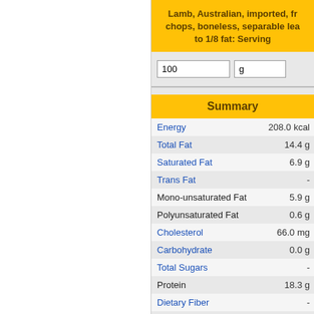Lamb, Australian, imported, fr… chops, boneless, separable lea… to 1/8 fat: Serving
100  g
Summary
| Nutrient | Value |
| --- | --- |
| Energy | 208.0 kcal |
| Total Fat | 14.4 g |
| Saturated Fat | 6.9 g |
| Trans Fat | - |
| Mono-unsaturated Fat | 5.9 g |
| Polyunsaturated Fat | 0.6 g |
| Cholesterol | 66.0 mg |
| Carbohydrate | 0.0 g |
| Total Sugars | - |
| Protein | 18.3 g |
| Dietary Fiber | - |
| Sodium | 59.0 mg |
| Calcium | 11.0 mg |
| Iron | 1.8 mg |